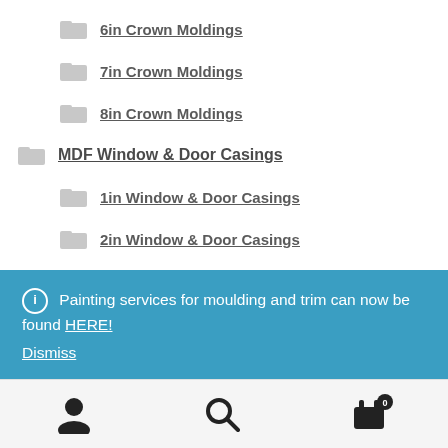6in Crown Moldings
7in Crown Moldings
8in Crown Moldings
MDF Window & Door Casings
1in Window & Door Casings
2in Window & Door Casings
3in Window & Door Casings
4in Window & Door Casings
Painting services for moulding and trim can now be found HERE! Dismiss
[Figure (infographic): Bottom navigation bar with user account icon, search icon, and shopping cart icon with badge showing 0]